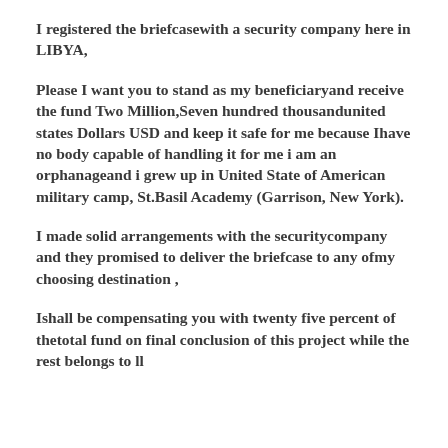I registered the briefcasewith a security company here in LIBYA,
Please I want you to stand as my beneficiaryand receive the fund Two Million,Seven hundred thousandunited states Dollars USD and keep it safe for me because Ihave no body capable of handling it for me i am an orphanageand i grew up in United State of American military camp, St.Basil Academy (Garrison, New York).
I made solid arrangements with the securitycompany and they promised to deliver the briefcase to any ofmy choosing destination ,
Ishall be compensating you with twenty five percent of thetotal fund on final conclusion of this project while the rest belongs to ll